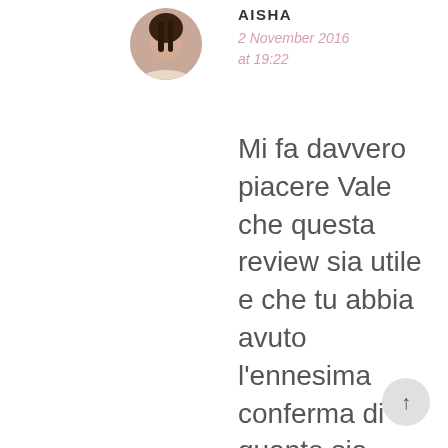[Figure (photo): Circular avatar photo of a person with braided hair]
AISHA
2 November 2016 at 19:22
Mi fa davvero piacere Vale che questa review sia utile e che tu abbia avuto l'ennesima conferma di quanto sia fantastico questo illuminante! Inoltre è un piacere sapere che ti fidi dei